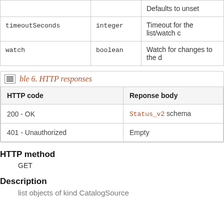|  |  |  |
| --- | --- | --- |
| timeoutSeconds | integer | Timeout for the list/watch c |
| watch | boolean | Watch for changes to the d |
Table 6. HTTP responses
| HTTP code | Reponse body |
| --- | --- |
| 200 - OK | Status_v2 schema |
| 401 - Unauthorized | Empty |
HTTP method
GET
Description
list objects of kind CatalogSource